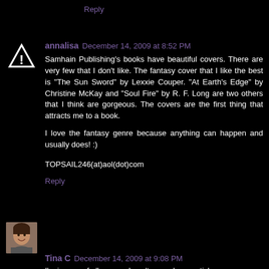Please enter me in the contest.
Reply
annalisa  December 14, 2009 at 8:52 PM
Samhain Publishing's books have beautiful covers. There are very few that I don't like. The fantasy cover that I like the best is "The Sun Sword" by Lexxie Couper. "At Earth's Edge" by Christine McKay and "Soul Fire" by R. F. Long are two others that I think are gorgeous. The covers are the first thing that attracts me to a book.

I love the fantasy genre because anything can happen and usually does! :)

TOPSAIL246(at)aol(dot)com
Reply
Tina C  December 14, 2009 at 9:08 PM
I'm in-awe of all covers, I can't even draw a stick person -